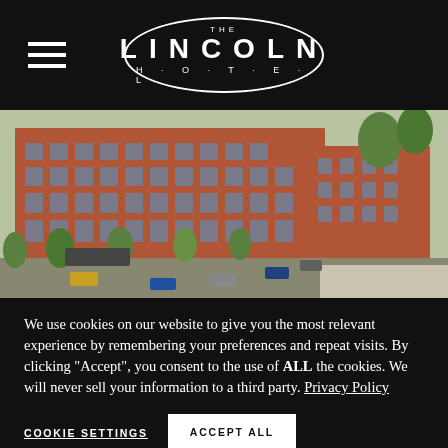THE LINCOLN HOTEL
[Figure (illustration): Architectural rendering of The Lincoln Hotel building — a large red-brick multi-story hotel with trees, parked cars, and streetscape viewed from an elevated angle.]
We use cookies on our website to give you the most relevant experience by remembering your preferences and repeat visits. By clicking "Accept", you consent to the use of ALL the cookies. We will never sell your information to a third party. Privacy Policy
COOKIE SETTINGS
ACCEPT ALL